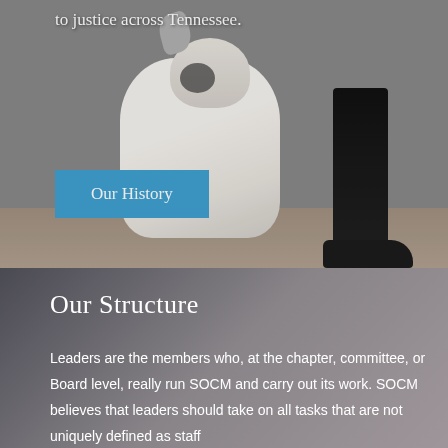to justice across Tennessee.
[Figure (photo): Photo of a white and black dog standing on a sidewalk next to a person wearing black pants and dark shoes. A blue 'Our History' button overlay appears on the image.]
Our Structure
Leaders are the members who, at the chapter, committee, or Board level, really run SOCM and carry out its work. SOCM believes that leaders should take on all tasks that are not uniquely defined as staff